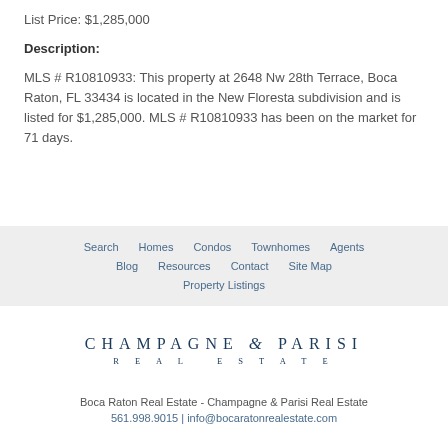List Price: $1,285,000
Description:
MLS # R10810933: This property at 2648 Nw 28th Terrace, Boca Raton, FL 33434 is located in the New Floresta subdivision and is listed for $1,285,000. MLS # R10810933 has been on the market for 71 days.
Search  Homes  Condos  Townhomes  Agents  Blog  Resources  Contact  Site Map  Property Listings
[Figure (logo): Champagne & Parisi Real Estate logo — text-based logo with stylized company name]
Boca Raton Real Estate - Champagne & Parisi Real Estate
561.998.9015 | info@bocaratonrealestate.com